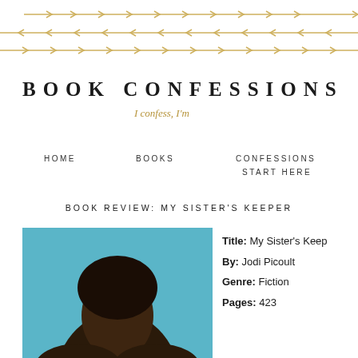[Figure (illustration): Three rows of gold/golden arrow chevron decorative dividers pointing right]
BOOK CONFESSIONS
I confess, I'm...
HOME   BOOKS   CONFESSIONS   START HERE
BOOK REVIEW: MY SISTER'S KEEPER
[Figure (photo): Close-up photo of a person's face/head against a teal/blue background, viewed from below]
Title: My Sister's Keeper
By: Jodi Picoult
Genre: Fiction
Pages: 423